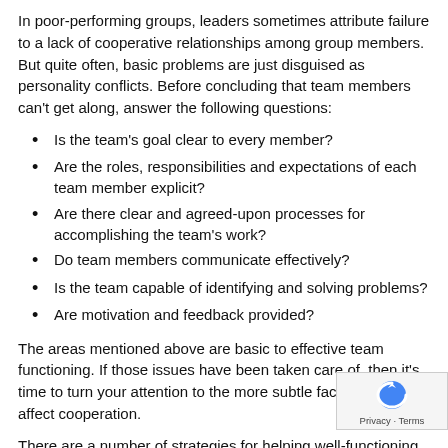In poor-performing groups, leaders sometimes attribute failure to a lack of cooperative relationships among group members. But quite often, basic problems are just disguised as personality conflicts. Before concluding that team members can't get along, answer the following questions:
Is the team's goal clear to every member?
Are the roles, responsibilities and expectations of each team member explicit?
Are there clear and agreed-upon processes for accomplishing the team's work?
Do team members communicate effectively?
Is the team capable of identifying and solving problems?
Are motivation and feedback provided?
The areas mentioned above are basic to effective team functioning. If those issues have been taken care of, then it's time to turn your attention to the more subtle factors that affect cooperation.
There are a number of strategies for helping well-functioning teams operate at an even higher level. In the book Turning Performance Inside Out, Susan Nash suggests that the most effective way to create high-performance teams is to: